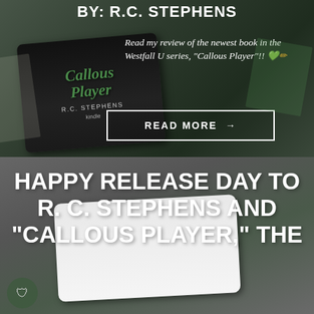BY: R.C. STEPHENS
Read my review of the newest book in the Westfall U series, “Callous Player”!! 💚✏
[Figure (photo): Kindle e-reader device displaying the book cover of 'Callous Player' by R.C. Stephens, shown with green stylized text on a dark background, placed on top of newspapers/books]
READ MORE →
[Figure (photo): Tablet/e-reader device on a green background, partially visible, with a shield logo at the bottom left]
HAPPY RELEASE DAY TO R. C. STEPHENS AND "CALLOUS PLAYER," THE